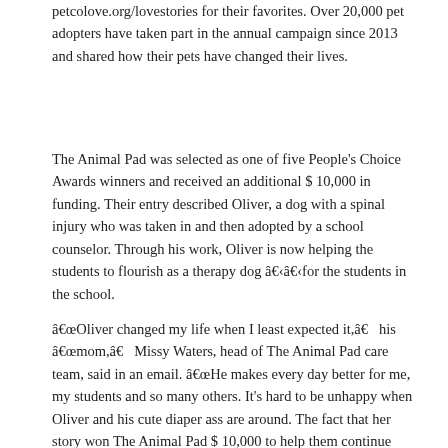petcolove.org/lovestories for their favorites. Over 20,000 pet adopters have taken part in the annual campaign since 2013 and shared how their pets have changed their lives.
The Animal Pad was selected as one of five People's Choice Awards winners and received an additional $ 10,000 in funding. Their entry described Oliver, a dog with a spinal injury who was taken in and then adopted by a school counselor. Through his work, Oliver is now helping the students to flourish as a therapy dog â€‹â€‹for the students in the school.
â€œOliver changed my life when I least expected it,â€​ his â€œmom,â€​ Missy Waters, head of The Animal Pad care team, said in an email. â€œHe makes every day better for me, my students and so many others. It's hard to be unhappy when Oliver and his cute diaper ass are around. The fact that her story won The Animal Pad $ 10,000 to help them continue doing what they do best – saving unwanted and broken dogs – is beyond amazing, and I am truly so grateful